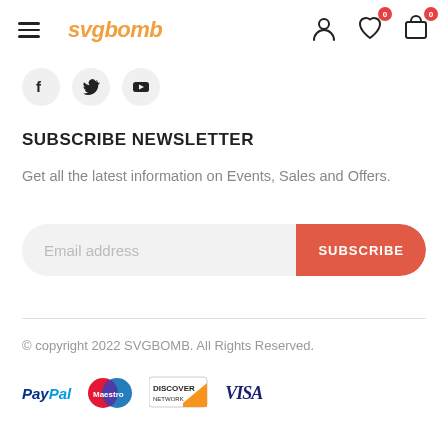svgbomb — navigation header with hamburger, logo, user/wishlist/cart icons
[Figure (illustration): Social media icon buttons: Facebook, Twitter, YouTube]
SUBSCRIBE NEWSLETTER
Get all the latest information on Events, Sales and Offers.
[Figure (screenshot): Email address input field with SUBSCRIBE button]
© copyright 2022 SVGBOMB. All Rights Reserved.
[Figure (logo): Payment logos: PayPal, Maestro, Discover Network, VISA]